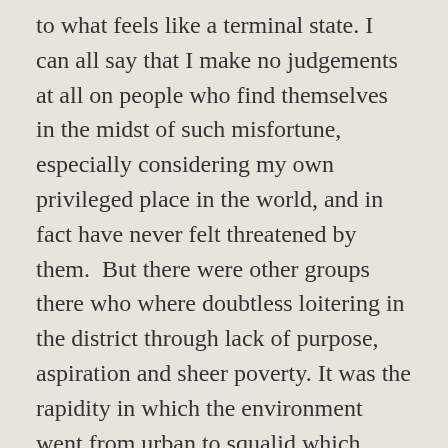to what feels like a terminal state. I can all say that I make no judgements at all on people who find themselves in the midst of such misfortune, especially considering my own privileged place in the world, and in fact have never felt threatened by them.  But there were other groups there who where doubtless loitering in the district through lack of purpose, aspiration and sheer poverty. It was the rapidity in which the environment went from urban to squalid which made me feel so vulnerable. You want the music school,' someone said and they gave me directions. There was salsa there and all that stuff he said – well it sounded like it could be the right place. I followed the directions and indeed found the salsa centre which was upstairs